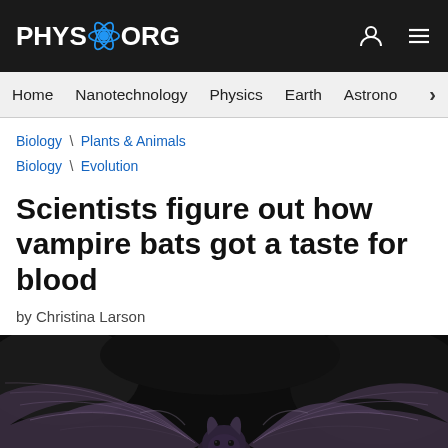PHYS.ORG
Home  Nanotechnology  Physics  Earth  Astronomy
Biology \ Plants & Animals
Biology \ Evolution
Scientists figure out how vampire bats got a taste for blood
by Christina Larson
[Figure (photo): A vampire bat with wings spread open against a dark background, showing detailed wing membrane structure]